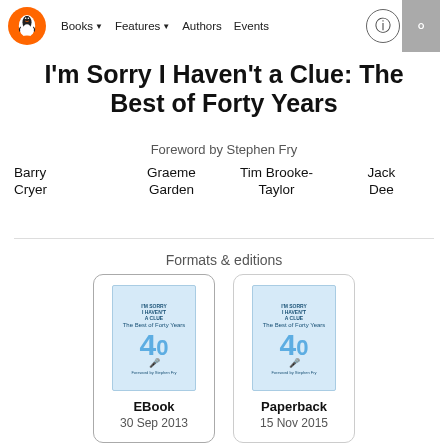Books | Features | Authors | Events
I'm Sorry I Haven't a Clue: The Best of Forty Years
Foreword by Stephen Fry
Barry Cryer   Graeme Garden   Tim Brooke-Taylor   Jack Dee
Formats & editions
EBook
30 Sep 2013
Paperback
15 Nov 2015